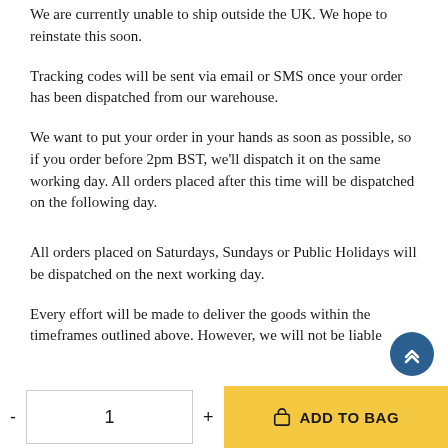We are currently unable to ship outside the UK. We hope to reinstate this soon.
Tracking codes will be sent via email or SMS once your order has been dispatched from our warehouse.
We want to put your order in your hands as soon as possible, so if you order before 2pm BST, we'll dispatch it on the same working day. All orders placed after this time will be dispatched on the following day.
All orders placed on Saturdays, Sundays or Public Holidays will be dispatched on the next working day.
Every effort will be made to deliver the goods within the timeframes outlined above. However, we will not be liable